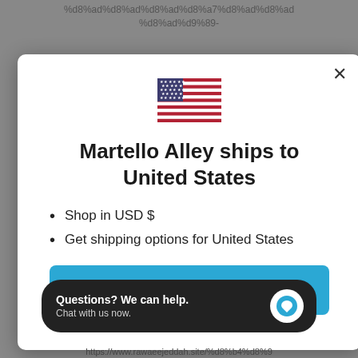%d8%ad%d9%89-%d8%ad%d9%89-
[Figure (screenshot): Modal dialog on a website showing a US flag, title 'Martello Alley ships to United States', bullet points about USD and shipping, and a 'Shop now' button]
Martello Alley ships to United States
Shop in USD $
Get shipping options for United States
Shop now
Questions? We can help. Chat with us now.
https://www.rawaeejeddah.site/%d8%b4%d8%9